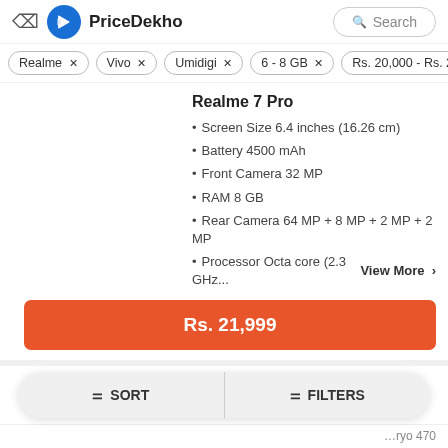PriceDekho
Realme ×
Vivo ×
Umidigi ×
6 - 8 GB ×
Rs. 20,000 - Rs. 2…
Realme 7 Pro
Screen Size 6.4 inches (16.26 cm)
Battery 4500 mAh
Front Camera 32 MP
RAM 8 GB
Rear Camera 64 MP + 8 MP + 2 MP + 2 MP
Processor Octa core (2.3 GHz...    View More  >
Rs. 21,999
SORT    FILTERS
+ 1.8 GHz, Hexa Core, Kryo 470)
Rear Camera 64 MP + 8 MP + 2 MP
Screen Size 6.44 inches (16.26 cm)